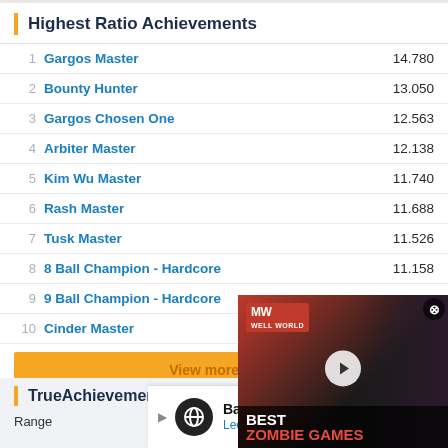Highest Ratio Achievements
1  Gargos Master  14.780
2  Bounty Hunter  13.050
3  Gargos Chosen One  12.563
4  Arbiter Master  12.138
5  Kim Wu Master  11.740
6  Rash Master  11.688
7  Tusk Master  11.526
8  8 Ball Champion - Hardcore  11.158
9  9 Ball Champion - Hardcore
10  Cinder Master
View more ach...
[Figure (screenshot): Video ad overlay showing MW logo and 'BEST ZOMBIE GAMES' text with play button]
TrueAchievement Changes
Range
[Figure (infographic): Advertisement for Back To School Essentials - Leesburg Premium Outlets]